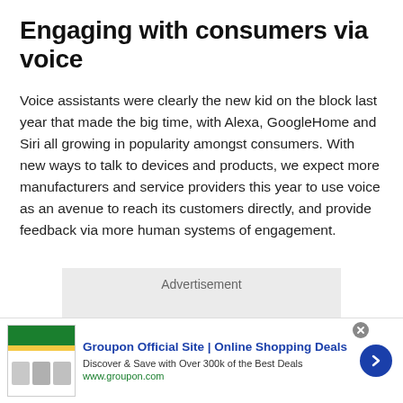Engaging with consumers via voice
Voice assistants were clearly the new kid on the block last year that made the big time, with Alexa, GoogleHome and Siri all growing in popularity amongst consumers. With new ways to talk to devices and products, we expect more manufacturers and service providers this year to use voice as an avenue to reach its customers directly, and provide feedback via more human systems of engagement.
[Figure (other): Advertisement placeholder box with grey background and 'Advertisement' label]
[Figure (other): Groupon advertisement banner showing green logo image, title 'Groupon Official Site | Online Shopping Deals', subtitle 'Discover & Save with Over 300k of the Best Deals', URL www.groupon.com, and a blue arrow button]